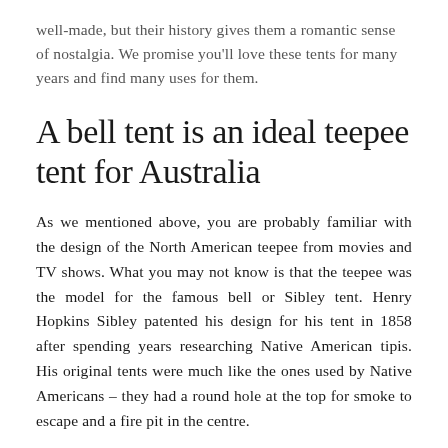well-made, but their history gives them a romantic sense of nostalgia. We promise you'll love these tents for many years and find many uses for them.
A bell tent is an ideal teepee tent for Australia
As we mentioned above, you are probably familiar with the design of the North American teepee from movies and TV shows. What you may not know is that the teepee was the model for the famous bell or Sibley tent. Henry Hopkins Sibley patented his design for his tent in 1858 after spending years researching Native American tipis. His original tents were much like the ones used by Native Americans – they had a round hole at the top for smoke to escape and a fire pit in the centre.
His tents were very popular, and you've probably seen photos of them in use by soldiers during the American